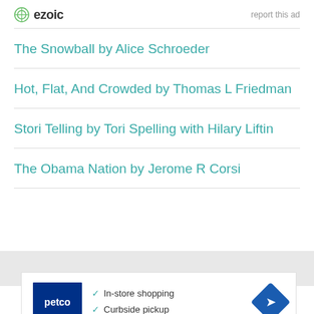[Figure (logo): Ezoic logo with circular icon and bold text, alongside 'report this ad' link]
The Snowball by Alice Schroeder
Hot, Flat, And Crowded by Thomas L Friedman
Stori Telling by Tori Spelling with Hilary Liftin
The Obama Nation by Jerome R Corsi
[Figure (infographic): Petco advertisement showing In-store shopping and Curbside pickup options with navigation icon]